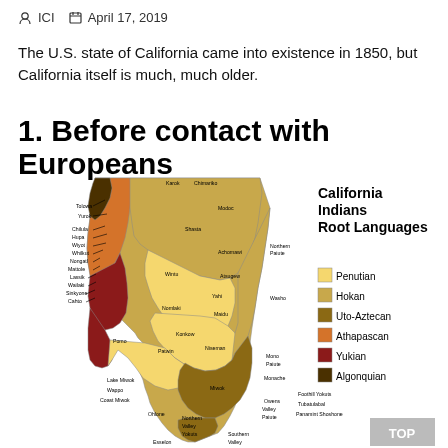ICI   April 17, 2019
The U.S. state of California came into existence in 1850, but California itself is much, much older.
1. Before contact with Europeans
[Figure (map): Map of California Indians Root Languages showing tribal regions color-coded by language family: Penutian (light yellow), Hokan (tan/gold), Uto-Aztecan (dark gold/brown), Athapascan (orange), Yukian (dark red), Algonquian (dark brown). Tribes labeled include Karok, Chimariko, Tolowa, Yurok, Shasta, Modoc, Chilula, Hupa, Wiyot, Whilkut, Nongatl, Mattole, Lassik, Wailaki, Sinkyone, Cahto, Achomawi, Northern Paiute, Wintu, Atsugew, Yahi, Nomlaki, Konkow, Maidu, Washo, Porno, Patwin, Niseman, Mono Paiute, Monache, Lake Miwok, Wappo, Coast Miwok, Miwok, Owens Valley Paiute, Foothil Yokuts, Tubatulabal, Panamint Shoshone, Ohlone, Northern Valley Yokuts, Southern Valley, Esselon. Legend shows 6 language families.]